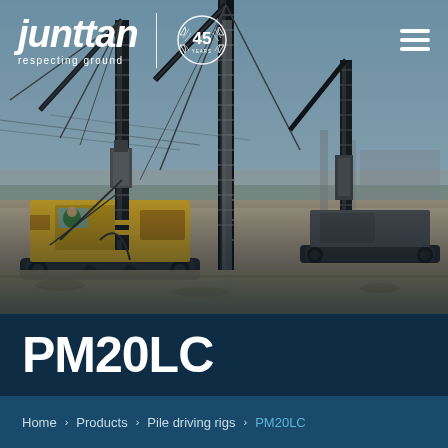[Figure (photo): Construction site with Junttan pile driving rigs operating. Yellow crawler-mounted machines with tall leader masts visible. Industrial/construction background with blue sky.]
Junttan | respecting ground | 45 years
PM20LC
Home > Products > Pile driving rigs > PM20LC